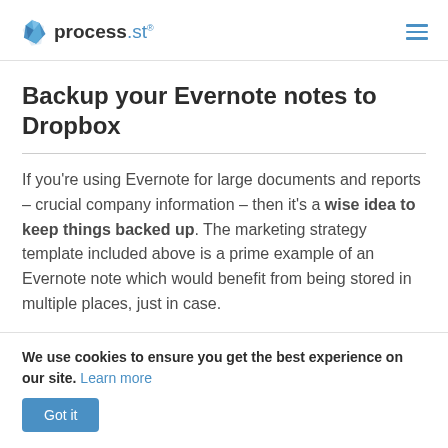process.st
Backup your Evernote notes to Dropbox
If you're using Evernote for large documents and reports – crucial company information – then it's a wise idea to keep things backed up. The marketing strategy template included above is a prime example of an Evernote note which would benefit from being stored in multiple places, just in case.
We use cookies to ensure you get the best experience on our site. Learn more